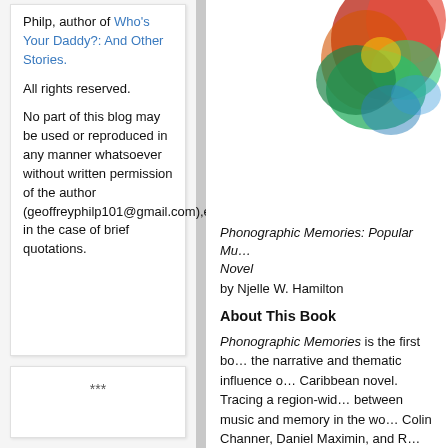Philp, author of Who's Your Daddy?: And Other Stories.
All rights reserved.
No part of this blog may be used or reproduced in any manner whatsoever without written permission of the author (geoffreyphilp101@gmail.com),except in the case of brief quotations.
***
[Figure (illustration): Partial book cover image for Phonographic Memories with colorful illustration]
NJELLE W. H…
Phonographic Memories: Popular Mu… Novel by Njelle W. Hamilton
About This Book
Phonographic Memories is the first bo… the narrative and thematic influence o… Caribbean novel. Tracing a region-wid… between music and memory in the wo… Colin Channer, Daniel Maximin, and R… tunes in to each novel's soundtrack w… cultures that sustain collective memor… specific localities. These "musical ficti…